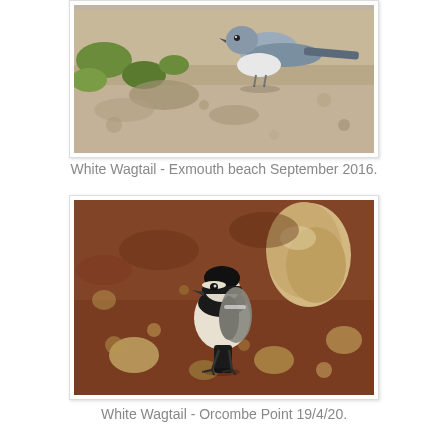[Figure (photo): White Wagtail bird on sandy/gravelly beach ground with green vegetation, cropped view showing the bird from above]
White Wagtail - Exmouth beach September 2016.
[Figure (photo): White Wagtail bird standing on reddish-brown earthy ground with pebbles and stones, facing camera with black and white plumage visible]
White Wagtail - Orcombe Point 19/4/20.